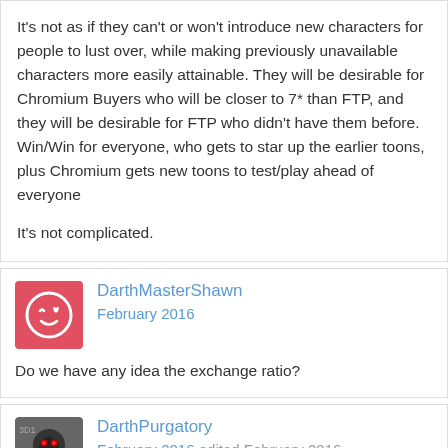It's not as if they can't or won't introduce new characters for people to lust over, while making previously unavailable characters more easily attainable. They will be desirable for Chromium Buyers who will be closer to 7* than FTP, and they will be desirable for FTP who didn't have them before. Win/Win for everyone, who gets to star up the earlier toons, plus Chromium gets new toons to test/play ahead of everyone

It's not complicated.
DarthMasterShawn
February 2016

Do we have any idea the exchange ratio?
DarthPurgatory
February 2016 edited February 2016

No, it has not been announced yet...and it likely won't until closer to whenever they are ready to reveal who will be in the